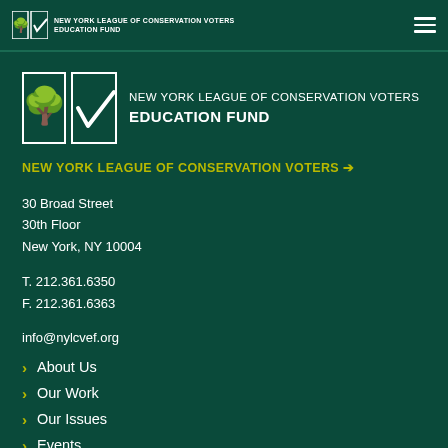NEW YORK LEAGUE OF CONSERVATION VOTERS EDUCATION FUND
[Figure (logo): New York League of Conservation Voters Education Fund logo with tree and checkmark icons]
NEW YORK LEAGUE OF CONSERVATION VOTERS →
30 Broad Street
30th Floor
New York, NY 10004
T. 212.361.6350
F. 212.361.6363
info@nylcvef.org
About Us
Our Work
Our Issues
Events